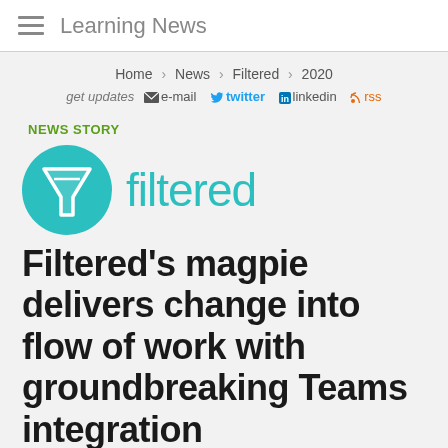Learning News
Home > News > Filtered > 2020
get updates  e-mail  twitter  linkedin  rss
NEWS STORY
[Figure (logo): Filtered logo: teal circle with inverted triangle/funnel icon and the word 'filtered' in teal text]
Filtered's magpie delivers change into flow of work with groundbreaking Teams integration